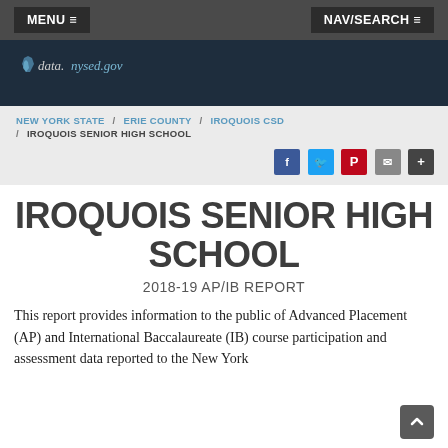MENU ≡    NAV/SEARCH ≡
[Figure (logo): data.nysed.gov logo on dark navy background with New York state icon]
NEW YORK STATE / ERIE COUNTY / IROQUOIS CSD / IROQUOIS SENIOR HIGH SCHOOL
[Figure (infographic): Social sharing icons: Facebook, Twitter, Pinterest, Email, More]
IROQUOIS SENIOR HIGH SCHOOL
2018-19 AP/IB REPORT
This report provides information to the public of Advanced Placement (AP) and International Baccalaureate (IB) course participation and assessment data reported to the New York